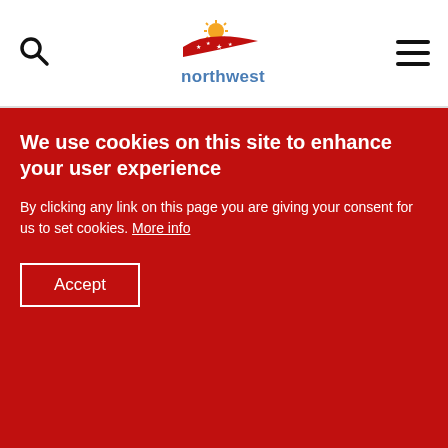northwest [logo header with search and menu icons]
We use cookies on this site to enhance your user experience
By clicking any link on this page you are giving your consent for us to set cookies. More info
Accept